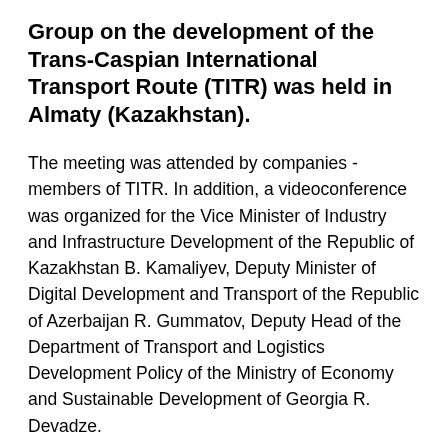Group on the development of the Trans-Caspian International Transport Route (TITR) was held in Almaty (Kazakhstan).
The meeting was attended by companies - members of TITR. In addition, a videoconference was organized for the Vice Minister of Industry and Infrastructure Development of the Republic of Kazakhstan B. Kamaliyev, Deputy Minister of Digital Development and Transport of the Republic of Azerbaijan R. Gummatov, Deputy Head of the Department of Transport and Logistics Development Policy of the Ministry of Economy and Sustainable Development of Georgia R. Devadze.
At the meeting, issues were discussed and certain agreements were reached on the volume (forecast) of cargo transportation and tariff conditions for the